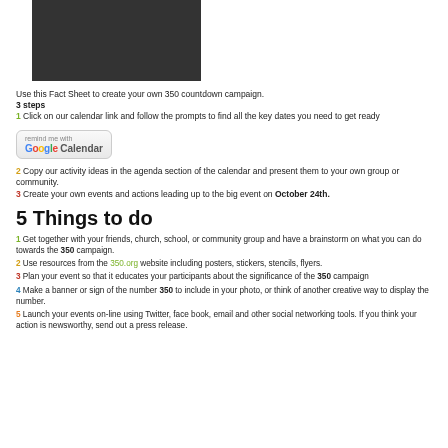[Figure (photo): Dark/black rectangular image at the top of the page]
Use this Fact Sheet to create your own 350 countdown campaign.
3 steps
1 Click on our calendar link and follow the prompts to find all the key dates you need to get ready
[Figure (screenshot): Google Calendar 'remind me with' button widget]
2 Copy our activity ideas in the agenda section of the calendar and present them to your own group or community.
3 Create your own events and actions leading up to the big event on October 24th.
5 Things to do
1 Get together with your friends, church, school, or community group and have a brainstorm on what you can do towards the 350 campaign.
2 Use resources from the 350.org website including posters, stickers, stencils, flyers.
3 Plan your event so that it educates your participants about the significance of the 350 campaign
4 Make a banner or sign of the number 350 to include in your photo, or think of another creative way to display the number.
5 Launch your events on-line using Twitter, face book, email and other social networking tools. If you think your action is newsworthy, send out a press release.